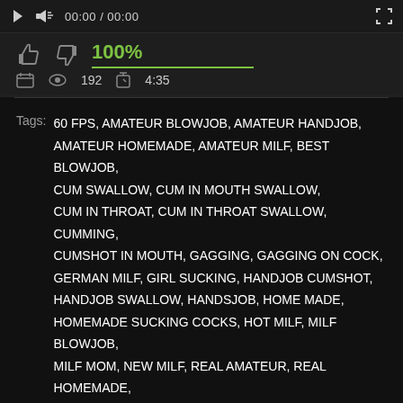▶  🔊  00:00 / 00:00  ⛶
👍 👎  100%
📅  👁 192  ⏳ 4:35
Tags:  60 FPS,  AMATEUR BLOWJOB,  AMATEUR HANDJOB,  AMATEUR HOMEMADE,  AMATEUR MILF,  BEST BLOWJOB,  CUM SWALLOW,  CUM IN MOUTH SWALLOW,  CUM IN THROAT,  CUM IN THROAT SWALLOW,  CUMMING,  CUMSHOT IN MOUTH,  GAGGING,  GAGGING ON COCK,  GERMAN MILF,  GIRL SUCKING,  HANDJOB CUMSHOT,  HANDJOB SWALLOW,  HANDSJOB,  HOME MADE,  HOMEMADE SUCKING COCKS,  HOT MILF,  MILF BLOWJOB,  MILF MOM,  NEW MILF,  REAL AMATEUR,  REAL HOMEMADE,  SUCKING,  SUCKING COCK,  SUCKING DICK,  SWALLOW